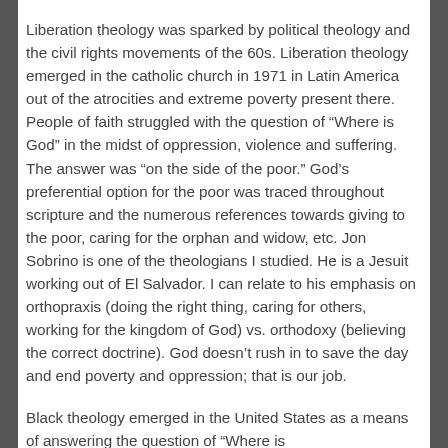Liberation theology was sparked by political theology and the civil rights movements of the 60s. Liberation theology emerged in the catholic church in 1971 in Latin America out of the atrocities and extreme poverty present there. People of faith struggled with the question of “Where is God” in the midst of oppression, violence and suffering. The answer was “on the side of the poor.” God’s preferential option for the poor was traced throughout scripture and the numerous references towards giving to the poor, caring for the orphan and widow, etc. Jon Sobrino is one of the theologians I studied. He is a Jesuit working out of El Salvador. I can relate to his emphasis on orthopraxis (doing the right thing, caring for others, working for the kingdom of God) vs. orthodoxy (believing the correct doctrine). God doesn’t rush in to save the day and end poverty and oppression; that is our job.
Black theology emerged in the United States as a means of answering the question of “Where is